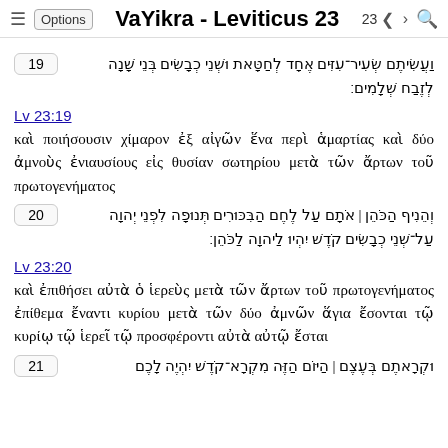VaYikra - Leviticus 23
19 [Hebrew verse 19]
Lv 23:19
καὶ ποιήσουσιν χίμαρον ἐξ αἰγῶν ἕνα περὶ ἁμαρτίας καὶ δύο ἀμνοὺς ἐνιαυσίους εἰς θυσίαν σωτηρίου μετὰ τῶν ἄρτων τοῦ πρωτογενήματος
20 [Hebrew verse 20]
Lv 23:20
καὶ ἐπιθήσει αὐτὰ ὁ ἱερεὺς μετὰ τῶν ἄρτων τοῦ πρωτογενήματος ἐπίθεμα ἔναντι κυρίου μετὰ τῶν δύο ἀμνῶν ἅγια ἔσονται τῷ κυρίῳ τῷ ἱερεῖ τῷ προσφέροντι αὐτὰ αὐτῷ ἔσται
21 [Hebrew verse 21]